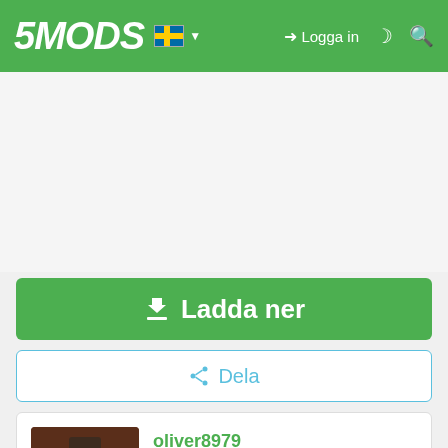5MODS — Logga in
[Figure (screenshot): White/light gray advertisement area placeholder]
⬇ Ladda ner
🔗 Dela
oliver8979
[Figure (photo): LEGO minifigure avatar with hat and red torso]